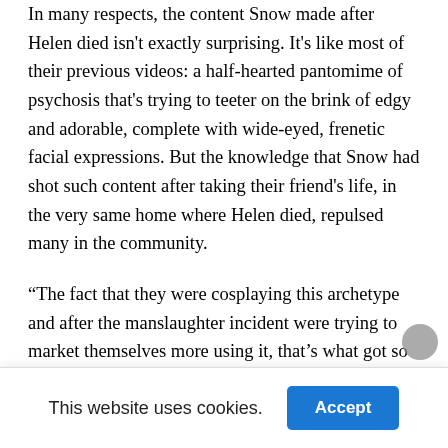In many respects, the content Snow made after Helen died isn't exactly surprising. It's like most of their previous videos: a half-hearted pantomime of psychosis that's trying to teeter on the brink of edgy and adorable, complete with wide-eyed, frenetic facial expressions. But the knowledge that Snow had shot such content after taking their friend's life, in the very same home where Helen died, repulsed many in the community.
“The fact that they were cosplaying this archetype and after the manslaughter incident were trying to market themselves more using it, that’s what got so much backlash from the community,” says Nevermind. “It’s one thing to be edgy, it’s another thing to be edgy about someone losing their life.” There is no evidence that Snow ever explicitly referred to Helen’s death in their content, or overtly used it as a
This website uses cookies.